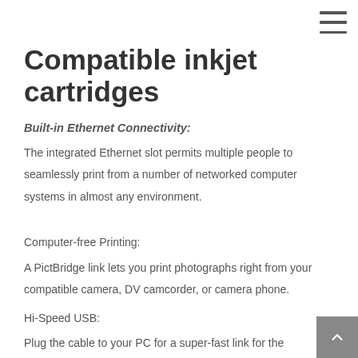Compatible inkjet cartridges
Built-in Ethernet Connectivity:
The integrated Ethernet slot permits multiple people to seamlessly print from a number of networked computer systems in almost any environment.
Computer-free Printing:
A PictBridge link lets you print photographs right from your compatible camera, DV camcorder, or camera phone.
Hi-Speed USB:
Plug the cable to your PC for a super-fast link for the data transfers.